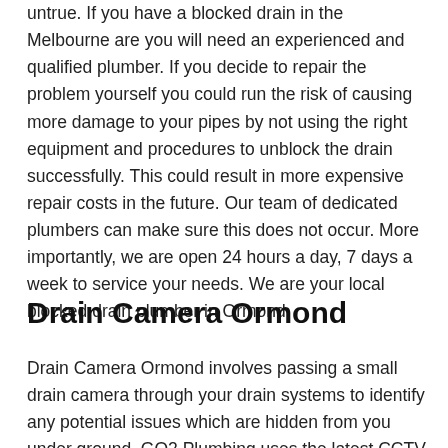untrue. If you have a blocked drain in the Melbourne are you will need an experienced and qualified plumber. If you decide to repair the problem yourself you could run the risk of causing more damage to your pipes by not using the right equipment and procedures to unblock the drain successfully. This could result in more expensive repair costs in the future. Our team of dedicated plumbers can make sure this does not occur. More importantly, we are open 24 hours a day, 7 days a week to service your needs. We are your local blocked drain plumber in Ormond.
Drain Camera Ormond
Drain Camera Ormond involves passing a small drain camera through your drain systems to identify any potential issues which are hidden from you under ground. GO2 Plumbing uses the latest CCTV technology and can supply you with a DVD of